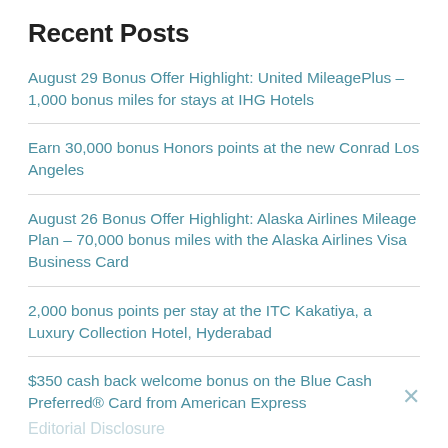Recent Posts
August 29 Bonus Offer Highlight: United MileagePlus – 1,000 bonus miles for stays at IHG Hotels
Earn 30,000 bonus Honors points at the new Conrad Los Angeles
August 26 Bonus Offer Highlight: Alaska Airlines Mileage Plan – 70,000 bonus miles with the Alaska Airlines Visa Business Card
2,000 bonus points per stay at the ITC Kakatiya, a Luxury Collection Hotel, Hyderabad
$350 cash back welcome bonus on the Blue Cash Preferred® Card from American Express
Editorial Disclosure